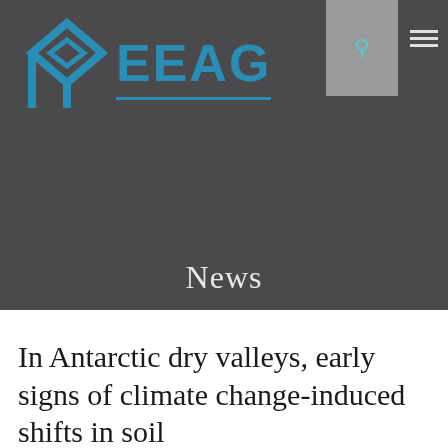[Figure (logo): REEAG organization logo with blue geometric arrow/ribbon symbol and blue text EEAG with underline on dark gray background]
News
In Antarctic dry valleys, early signs of climate change-induced shifts in soil